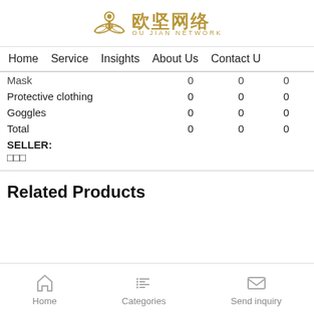[Figure (logo): Ou Jian Network logo with golden key/wing icon and Chinese characters 欧坚网络]
Home   Service   Insights   About Us   Contact U
| Mask | 0 | 0 | 0 |
| Protective clothing | 0 | 0 | 0 |
| Goggles | 0 | 0 | 0 |
| Total | 0 | 0 | 0 |
SELLER:
□□□
Related Products
Home   Categories   Send inquiry